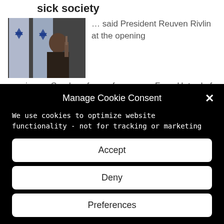sick society
[Figure (photo): Photo of President Reuven Rivlin speaking at a conference, with Israeli flags visible in the background]
… said President Reuven Rivlin at the opening session on Sunday of a conference on From Hatred of the Stranger to
Manage Cookie Consent
We use cookies to optimize website functionality - not for tracking or marketing
Accept
Deny
Preferences